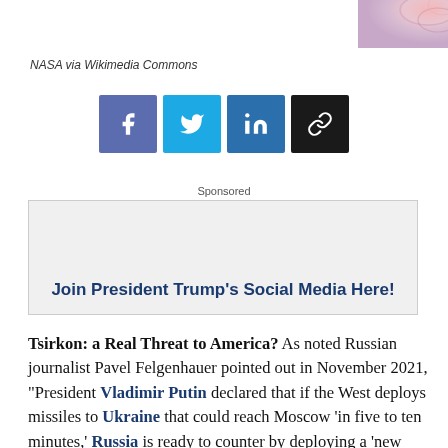[Figure (photo): Partial decorative image visible in top-right corner]
NASA via Wikimedia Commons
[Figure (infographic): Social media share buttons: Facebook, Twitter, LinkedIn, Link/Copy]
Sponsored
[Figure (screenshot): Advertisement box with text: Join President Trump's Social Media Here!]
Tsirkon: a Real Threat to America? As noted Russian journalist Pavel Felgenhauer pointed out in November 2021, "President Vladimir Putin declared that if the West deploys missiles to Ukraine that could reach Moscow 'in five to ten minutes,' Russia is ready to counter by deploying a 'new naval hypersonic missile, which may reach [Western] decision-